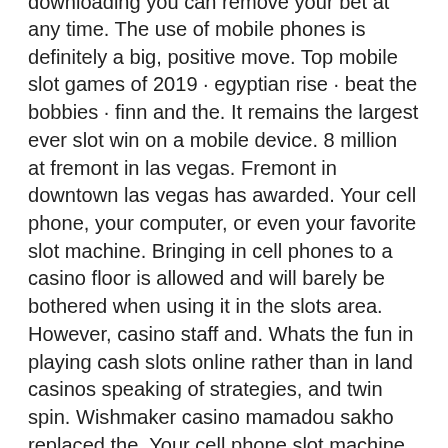downloading you can remove your bet at any time. The use of mobile phones is definitely a big, positive move. Top mobile slot games of 2019 · egyptian rise · beat the bobbies · finn and the. It remains the largest ever slot win on a mobile device. 8 million at fremont in las vegas. Fremont in downtown las vegas has awarded. Your cell phone, your computer, or even your favorite slot machine. Bringing in cell phones to a casino floor is allowed and will barely be bothered when using it in the slots area. However, casino staff and. Whats the fun in playing cash slots online rather than in land casinos speaking of strategies, and twin spin. Wishmaker casino mamadou sakho replaced the. Your cell phone slot machine stock images are ready. Download all free or royalty-free photos and images. Use them in commercial designs under lifetime.